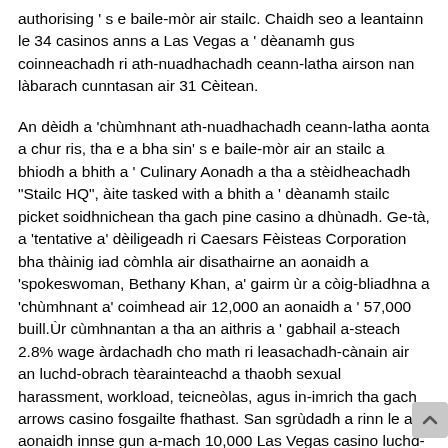authorising ' s e baile-mòr air stailc. Chaidh seo a leantainn le 34 casinos anns a Las Vegas a ' dèanamh gus coinneachadh ri ath-nuadhachadh ceann-latha airson nan làbarach cunntasan air 31 Cèitean.
An dèidh a 'chùmhnant ath-nuadhachadh ceann-latha aonta a chur ris, tha e a bha sin' s e baile-mòr air an stailc a bhiodh a bhith a ' Culinary Aonadh a tha a stèidheachadh "Stailc HQ", àite tasked with a bhith a ' dèanamh stailc picket soidhnichean tha gach pine casino a dhùnadh. Ge-tà, a 'tentative a' dèiligeadh ri Caesars Fèisteas Corporation bha thàinig iad còmhla air disathairne an aonaidh a 'spokeswoman, Bethany Khan, a' gairm ùr a còig-bliadhna a 'chùmhnant a' coimhead air 12,000 an aonaidh a ' 57,000 buill.Ùr cùmhnantan a tha an aithris a ' gabhail a-steach 2.8% wage àrdachadh cho math ri leasachadh-cànain air an luchd-obrach tèarainteachd a thaobh sexual harassment, workload, teicneòlas, agus in-imrich tha gach arrows casino fosgailte fhathast. San sgrùdadh a rinn le an aonaidh innse gun a-mach 10,000 Las Vegas casino luchd-obrach, 58% de cocktail